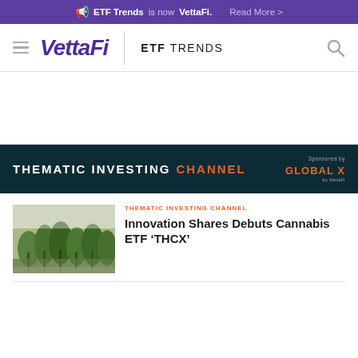ETF Trends is now VettaFi. Read More >
[Figure (logo): VettaFi logo with hamburger menu, ETF TRENDS text and search icon in navigation bar]
[Figure (infographic): Thematic Investing Channel banner with Global X sponsorship logo on dark teal background]
[Figure (photo): Cannabis plants field photo thumbnail for article]
THEMATIC INVESTING CHANNEL
Innovation Shares Debuts Cannabis ETF 'THCX'